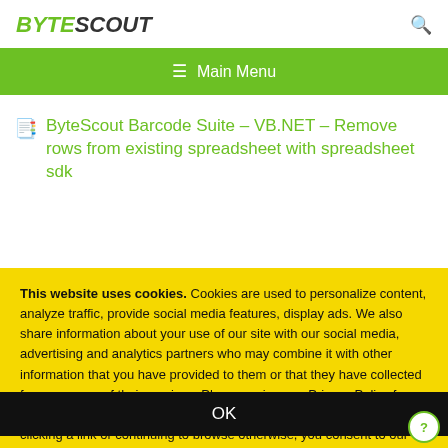BYTESCOUT
[Figure (other): Green navigation bar with hamburger menu icon and 'Main Menu' text]
ByteScout Barcode Suite – VB.NET – Remove rows from existing spreadsheet with spreadsheet sdk
This website uses cookies. Cookies are used to personalize content, analyze traffic, provide social media features, display ads. We also share information about your use of our site with our social media, advertising and analytics partners who may combine it with other information that you have provided to them or that they have collected from your use of their services. Please review our Privacy Policy for more details or change cookies settings. By closing this banner or by clicking a link or continuing to browse otherwise, you consent to our cookies.
OK